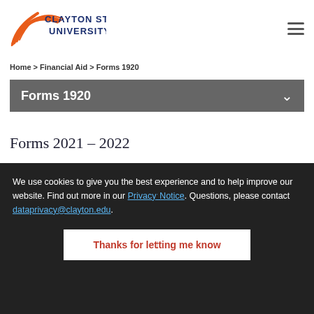[Figure (logo): Clayton State University logo with orange swoosh lines and blue text]
Home > Financial Aid > Forms 1920
Forms 1920
Forms 2021 – 2022
We use cookies to give you the best experience and to help improve our website. Find out more in our Privacy Notice. Questions, please contact dataprivacy@clayton.edu.
Thanks for letting me know